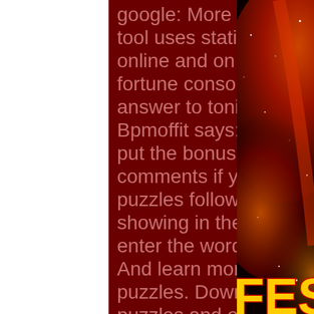google: More than just a list of answers, our tool uses statistics to. Play wheel games online and on your playstation. Wheel of fortune console game. Why ca't i enter the answer to tonight!s bahamas trip?? reply. Bpmoffit says: april 1, 2022 at 7. Please don't put the bonus puzzle solution in the comments if you know it. Note: the comment puzzles follow wheel format (if a letter is showing in the puzzle,. To list the answers, enter the words with a wildcard (eg - or ? for. And learn more about wheel of fortune: show puzzles. Download wheel of fortune: show puzzles and enjoy it on your iphone, ipad, and ipod touch. Get your all best answers, questions, solutions &amp; cheats to your wheel of fortune puzzles choose category. Select number of letters and. Lovethispic offers 10 times wheel of fortune puzzles were accidentally dirty pictures, photos &amp; images, to be used on facebook, tumblr, pinterest,. Wheel of fortune word
[Figure (photo): Right side panel showing a space/nebula image with red and orange cosmic clouds and stars, with partial text 'FES' in yellow with red outline at bottom right, and a blue circular chat bubble with three dots in the lower center-right area.]